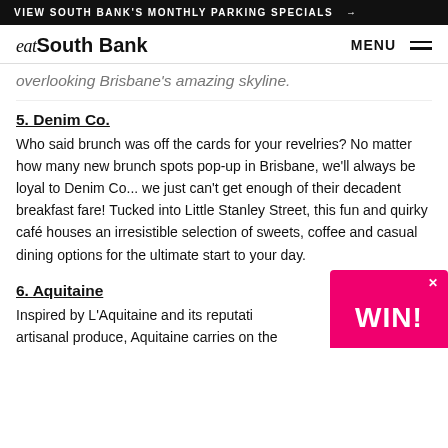VIEW SOUTH BANK'S MONTHLY PARKING SPECIALS →
eat South Bank   MENU
overlooking Brisbane's amazing skyline.
5. Denim Co.
Who said brunch was off the cards for your revelries? No matter how many new brunch spots pop-up in Brisbane, we'll always be loyal to Denim Co... we just can't get enough of their decadent breakfast fare! Tucked into Little Stanley Street, this fun and quirky café houses an irresistible selection of sweets, coffee and casual dining options for the ultimate start to your day.
6. Aquitaine
Inspired by L'Aquitaine and its reputation for artisanal produce, Aquitaine carries on the